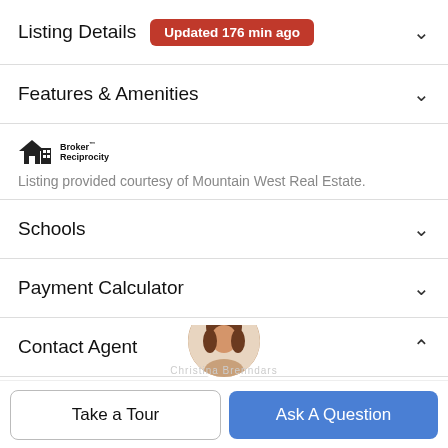Listing Details — Updated 176 min ago
Features & Amenities
[Figure (logo): Broker Reciprocity logo with house icon]
Listing provided courtesy of Mountain West Real Estate.
Schools
Payment Calculator
Contact Agent
[Figure (photo): Partial agent profile photo (woman with brown hair)]
Christina Brenndars
Take a Tour
Ask A Question